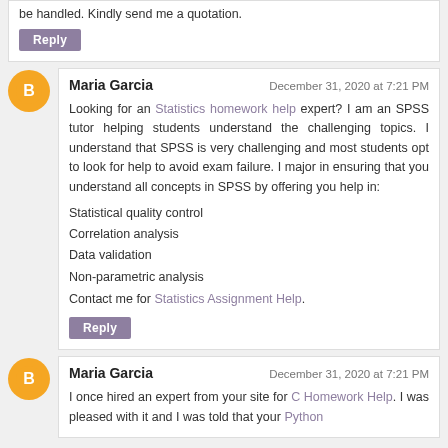be handled. Kindly send me a quotation.
Reply
Maria Garcia
December 31, 2020 at 7:21 PM
Looking for an Statistics homework help expert? I am an SPSS tutor helping students understand the challenging topics. I understand that SPSS is very challenging and most students opt to look for help to avoid exam failure. I major in ensuring that you understand all concepts in SPSS by offering you help in:
Statistical quality control
Correlation analysis
Data validation
Non-parametric analysis
Contact me for Statistics Assignment Help.
Reply
Maria Garcia
December 31, 2020 at 7:21 PM
I once hired an expert from your site for C Homework Help. I was pleased with it and I was told that your Python
languages help can also be handled.